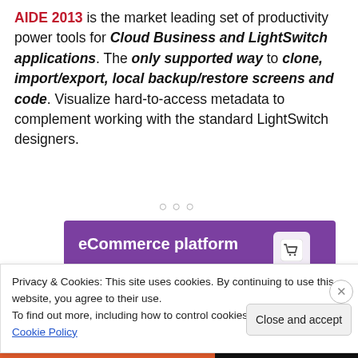AIDE 2013 is the market leading set of productivity power tools for Cloud Business and LightSwitch applications. The only supported way to clone, import/export, local backup/restore screens and code. Visualize hard-to-access metadata to complement working with the standard LightSwitch designers.
[Figure (screenshot): eCommerce platform screenshot with purple background, shopping cart icon, 'Start a new store' button, and Aa typography badge]
Privacy & Cookies: This site uses cookies. By continuing to use this website, you agree to their use.
To find out more, including how to control cookies, see here: Cookie Policy
Close and accept